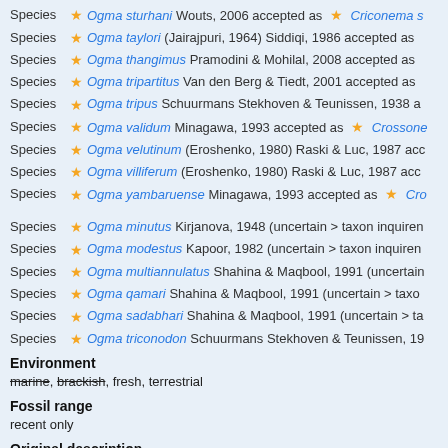Species ★ Ogma sturhani Wouts, 2006 accepted as ★ Criconema s…
Species ★ Ogma taylori (Jairajpuri, 1964) Siddiqi, 1986 accepted as
Species ★ Ogma thangimus Pramodini & Mohilal, 2008 accepted as
Species ★ Ogma tripartitus Van den Berg & Tiedt, 2001 accepted as
Species ★ Ogma tripus Schuurmans Stekhoven & Teunissen, 1938 a…
Species ★ Ogma validum Minagawa, 1993 accepted as ★ Crossone…
Species ★ Ogma velutinum (Eroshenko, 1980) Raski & Luc, 1987 acc…
Species ★ Ogma villiferum (Eroshenko, 1980) Raski & Luc, 1987 acc…
Species ★ Ogma yambaruense Minagawa, 1993 accepted as ★ Cro…
Species ★ Ogma minutus Kirjanova, 1948 (uncertain > taxon inquiren…
Species ★ Ogma modestus Kapoor, 1982 (uncertain > taxon inquiren…
Species ★ Ogma multiannulatus Shahina & Maqbool, 1991 (uncertain…
Species ★ Ogma qamari Shahina & Maqbool, 1991 (uncertain > taxo…
Species ★ Ogma sadabhari Shahina & Maqbool, 1991 (uncertain > ta…
Species ★ Ogma triconodon Schuurmans Stekhoven & Teunissen, 19…
Environment
marine, brackish, fresh, terrestrial
Fossil range
recent only
Original description
Not documented
Taxonomic citation
Nemys eds. (2022). Nemys: World Database of Nematodes. Ogma Sou…